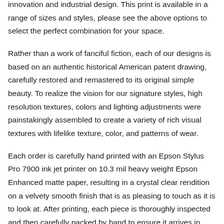innovation and industrial design. This print is available in a range of sizes and styles, please see the above options to select the perfect combination for your space.
Rather than a work of fanciful fiction, each of our designs is based on an authentic historical American patent drawing, carefully restored and remastered to its original simple beauty. To realize the vision for our signature styles, high resolution textures, colors and lighting adjustments were painstakingly assembled to create a variety of rich visual textures with lifelike texture, color, and patterns of wear.
Each order is carefully hand printed with an Epson Stylus Pro 7900 ink jet printer on 10.3 mil heavy weight Epson Enhanced matte paper, resulting in a crystal clear rendition on a velvety smooth finish that is as pleasing to touch as it is to look at. After printing, each piece is thoroughly inspected and then carefully packed by hand to ensure it arrives in